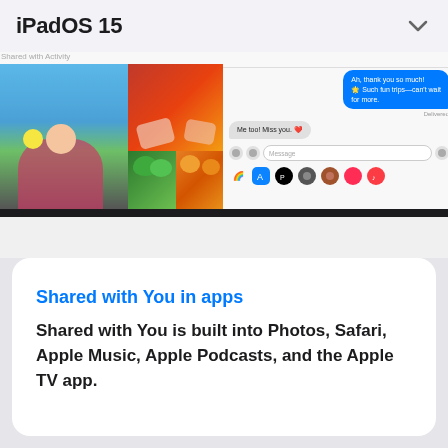iPadOS 15
[Figure (screenshot): iPad screenshot showing Photos app with Shared with You feature — a grid of photos (girl with flowers, hands, apples, oranges) alongside a Messages conversation thread]
Shared with You in apps
Shared with You is built into Photos, Safari, Apple Music, Apple Podcasts, and the Apple TV app.